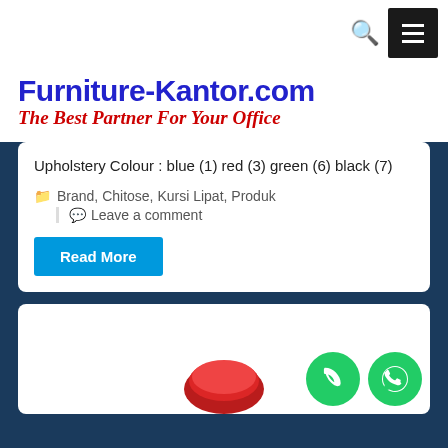[Figure (screenshot): Website header with search icon and hamburger menu button]
Furniture-Kantor.com
The Best Partner For Your Office
Upholstery Colour : blue (1) red (3) green (6) black (7)
Brand, Chitose, Kursi Lipat, Produk
Leave a comment
Read More
[Figure (photo): Bottom section with phone and WhatsApp floating action buttons, and partial view of next product card with red chair]